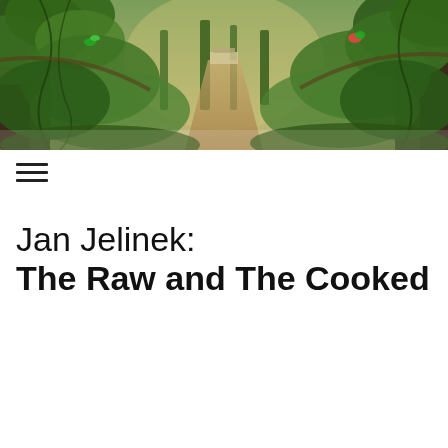[Figure (illustration): A lush jungle/forest scene painting with green tropical trees, vines, and foliage. A path leads into the background where a small structure is visible. Colorful parrots are visible in the canopy. Warm earthy tones with green vegetation.]
[Figure (other): Hamburger menu icon — three horizontal black lines stacked vertically]
Jan Jelinek:
The Raw and The Cooked